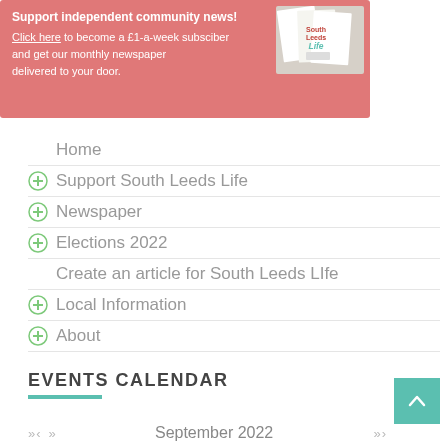[Figure (infographic): Pink/salmon banner advertisement: 'Support independent community news!' with image of South Leeds Life newspapers on the right. Text: 'Click here to become a £1-a-week subsciber and get our monthly newspaper delivered to your door.']
Home
Support South Leeds Life
Newspaper
Elections 2022
Create an article for South Leeds LIfe
Local Information
About
EVENTS CALENDAR